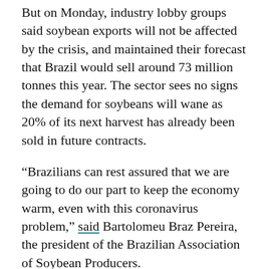But on Monday, industry lobby groups said soybean exports will not be affected by the crisis, and maintained their forecast that Brazil would sell around 73 million tonnes this year. The sector sees no signs the demand for soybeans will wane as 20% of its next harvest has already been sold in future contracts.
“Brazilians can rest assured that we are going to do our part to keep the economy warm, even with this coronavirus problem,” said Bartolomeu Braz Pereira, the president of the Brazilian Association of Soybean Producers.
In the stock market, the picture is quite different and Brazilian companies have accumulated losses. BRF, one of Brazil’s main food companies, lost 56.5% of its market value this year.